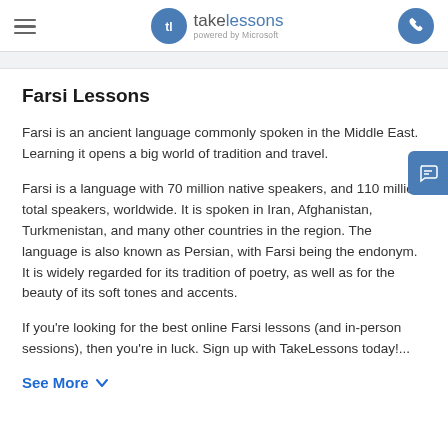takelessons powered by Microsoft
Farsi Lessons
Farsi is an ancient language commonly spoken in the Middle East. Learning it opens a big world of tradition and travel.
Farsi is a language with 70 million native speakers, and 110 million total speakers, worldwide. It is spoken in Iran, Afghanistan, Turkmenistan, and many other countries in the region. The language is also known as Persian, with Farsi being the endonym. It is widely regarded for its tradition of poetry, as well as for the beauty of its soft tones and accents.
If you're looking for the best online Farsi lessons (and in-person sessions), then you're in luck. Sign up with TakeLessons today!...
See More ∨